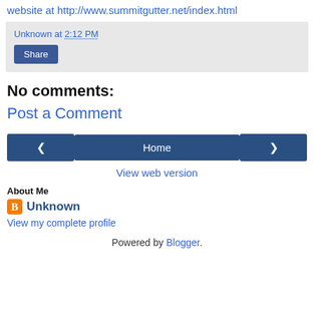website at http://www.summitgutter.net/index.html
Unknown at 2:12 PM
Share
No comments:
Post a Comment
‹  Home  ›  View web version
About Me
Unknown
View my complete profile
Powered by Blogger.